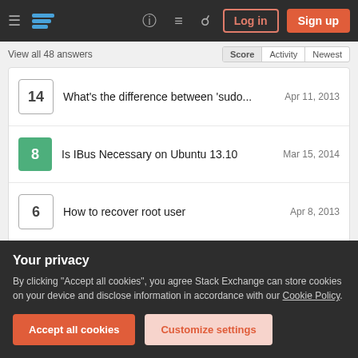Stack Exchange navigation bar with hamburger menu, logo, help, chat, search icons, Log in and Sign up buttons
View all 48 answers
14  What's the difference between 'sudo...  Apr 11, 2013
8  Is IBus Necessary on Ubuntu 13.10  Mar 15, 2014
6  How to recover root user  Apr 8, 2013
4  Can't view output in tty. (Ctrl+alt+f1 to f6 don'...  Apr 2, 2013
Your privacy
By clicking "Accept all cookies", you agree Stack Exchange can store cookies on your device and disclose information in accordance with our Cookie Policy.
Accept all cookies  Customize settings